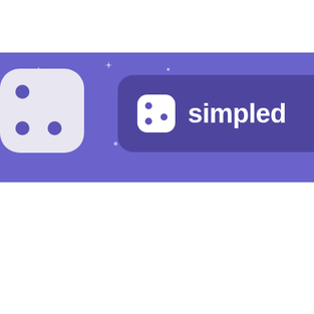[Figure (logo): A purple banner with a white dice character on the left (partially cropped), sparkle/star decorations scattered across the purple background, and a darker purple pill-shaped badge on the right containing a small dice icon and the partial text 'simpled' (cut off at right edge) in white bold font. The bottom two-thirds of the page is white/blank.]